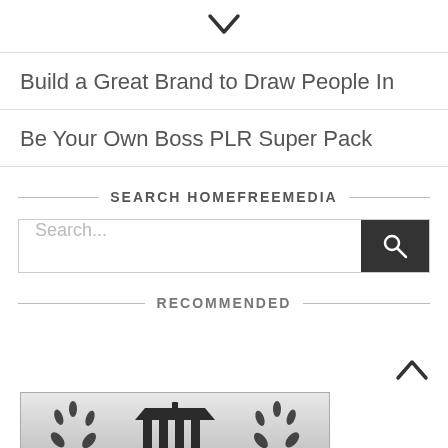[Figure (other): Chevron/down arrow icon]
Build a Great Brand to Draw People In
Be Your Own Boss PLR Super Pack
SEARCH HOMEFREEMEDIA
Search...
RECOMMENDED
[Figure (logo): Badge/seal icon with pillared building and laurel wreath, grayscale]